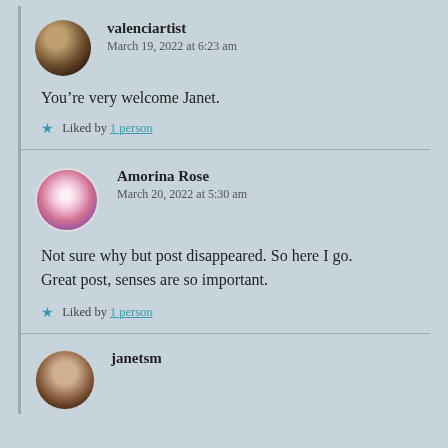valenciartist
March 19, 2022 at 6:23 am
You’re very welcome Janet.
Liked by 1 person
Amorina Rose
March 20, 2022 at 5:30 am
Not sure why but post disappeared. So here I go. Great post, senses are so important.
Liked by 1 person
janetsm